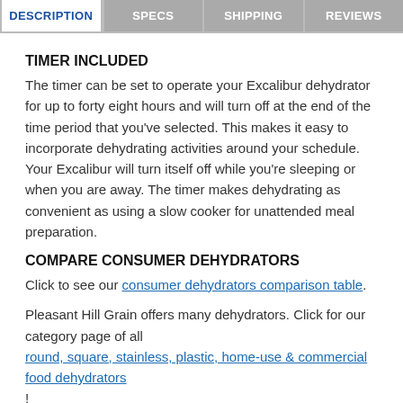DESCRIPTION | SPECS | SHIPPING | REVIEWS
TIMER INCLUDED
The timer can be set to operate your Excalibur dehydrator for up to forty eight hours and will turn off at the end of the time period that you've selected. This makes it easy to incorporate dehydrating activities around your schedule. Your Excalibur will turn itself off while you're sleeping or when you are away. The timer makes dehydrating as convenient as using a slow cooker for unattended meal preparation.
COMPARE CONSUMER DEHYDRATORS
Click to see our consumer dehydrators comparison table.
Pleasant Hill Grain offers many dehydrators. Click for our category page of all round, square, stainless, plastic, home-use & commercial food dehydrators !
Did we forget something? If you need more information about this product, feel free to let us know and d like to share it